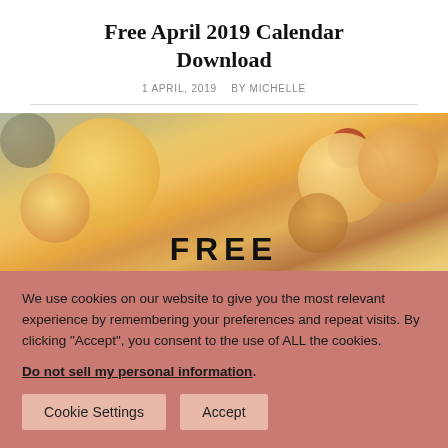Free April 2019 Calendar Download
1 APRIL, 2019   BY MICHELLE
[Figure (illustration): Blurred photo of yellow-orange flowers with text 'FREE' overlaid at the bottom]
We use cookies on our website to give you the most relevant experience by remembering your preferences and repeat visits. By clicking “Accept”, you consent to the use of ALL the cookies.
Do not sell my personal information.
Cookie Settings   Accept